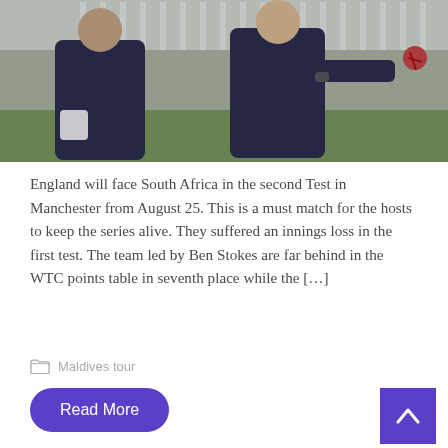[Figure (photo): Two cricket players in dark navy blue training kit on a cricket ground. One player is seen from behind, the other facing, holding a red cricket ball. White fence visible in background.]
England will face South Africa in the second Test in Manchester from August 25. This is a must match for the hosts to keep the series alive. They suffered an innings loss in the first test. The team led by Ben Stokes are far behind in the WTC points table in seventh place while the […]
Maldives tour
Read More